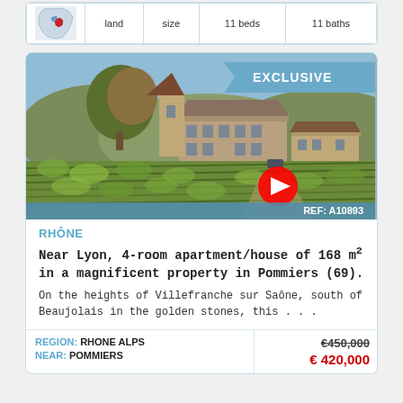|  | land | size | 11 beds | 11 baths |
| --- | --- | --- | --- | --- |
| [map] | land | size | 11 beds | 11 baths |
[Figure (photo): Property photo showing a French estate with vineyard in the foreground, stone buildings and a tower, with an EXCLUSIVE banner and YouTube play button overlay. REF: A10893 shown in blue bar at bottom.]
RHÔNE
Near Lyon, 4-room apartment/house of 168 m² in a magnificent property in Pommiers (69).
On the heights of Villefranche sur Saône, south of Beaujolais in the golden stones, this . . .
| REGION | NEAR | price-old | price-new |
| --- | --- | --- | --- |
| REGION: RHONE ALPS |  | €450,000 |  |
| NEAR: POMMIERS |  |  | € 420,000 |